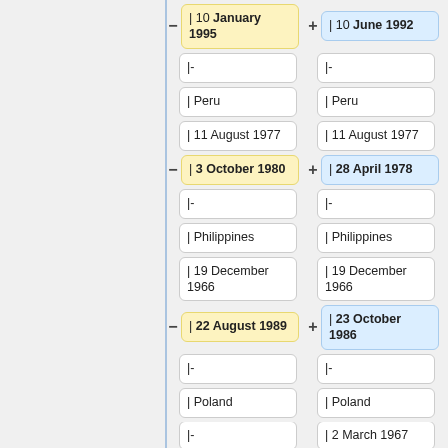[Figure (flowchart): A two-column comparison layout showing paired data cells with dates, separators, country names in rounded boxes. Left column cells have yellow background with minus signs; right column cells have blue background with plus signs. Rows include: 10 January 1995 / 10 June 1992, |-, Peru / Peru, 11 August 1977 / 11 August 1977, 3 October 1980 / 28 April 1978, |-, Philippines / Philippines, 19 December 1966 / 19 December 1966, 22 August 1989 / 23 October 1986, |-, Poland / Poland, and a partially visible last row.]